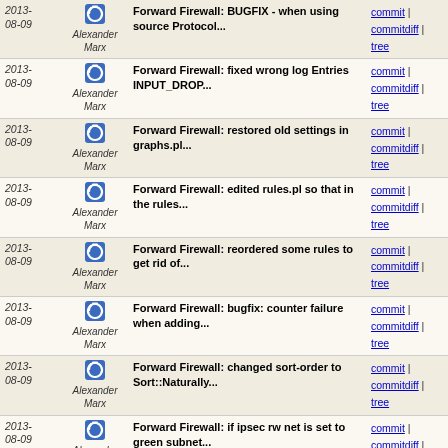| Date | Author | Message | Links |
| --- | --- | --- | --- |
| 2013-08-09 | Alexander Marx | Forward Firewall: BUGFIX - when using source Protocol... | commit | commitdiff | tree |
| 2013-08-09 | Alexander Marx | Forward Firewall: fixed wrong log Entries INPUT_DROP... | commit | commitdiff | tree |
| 2013-08-09 | Alexander Marx | Forward Firewall: restored old settings in graphs.pl... | commit | commitdiff | tree |
| 2013-08-09 | Alexander Marx | Forward Firewall: edited rules.pl so that in the rules... | commit | commitdiff | tree |
| 2013-08-09 | Alexander Marx | Forward Firewall: reordered some rules to get rid of... | commit | commitdiff | tree |
| 2013-08-09 | Alexander Marx | Forward Firewall: bugfix: counter failure when adding... | commit | commitdiff | tree |
| 2013-08-09 | Alexander Marx | Forward Firewall: changed sort-order to Sort::Naturally... | commit | commitdiff | tree |
| 2013-08-09 | Alexander Marx | Forward Firewall: if ipsec rw net is set to green subnet... | commit | commitdiff | tree |
| 2013-08-09 | Alexander Marx | Forward Firewall: removed devel-tags | commit | commitdiff | tree |